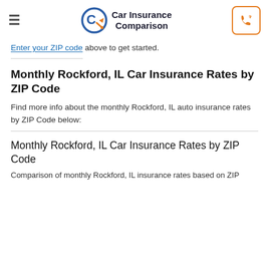Car Insurance Comparison
Enter your ZIP code above to get started.
Monthly Rockford, IL Car Insurance Rates by ZIP Code
Find more info about the monthly Rockford, IL auto insurance rates by ZIP Code below:
Monthly Rockford, IL Car Insurance Rates by ZIP Code
Comparison of monthly Rockford, IL insurance rates based on ZIP